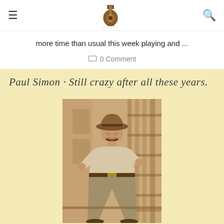Totally Guitars logo with hamburger menu and search icon
more time than usual this week playing and ...
0 Comment
[Figure (photo): Paul Simon - Still crazy after all these years album cover. Cream/yellow background with cursive handwritten title text at top and a sepia-toned photo of a man wearing a cowboy hat and short-sleeved shirt, standing confidently outdoors near scaffolding or shelving.]